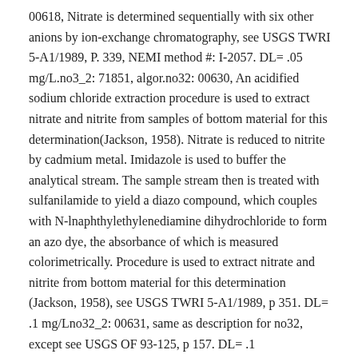00618, Nitrate is determined sequentially with six other anions by ion-exchange chromatography, see USGS TWRI 5-A1/1989, P. 339, NEMI method #: I-2057. DL= .05 mg/L.no3_2: 71851, algor.no32: 00630, An acidified sodium chloride extraction procedure is used to extract nitrate and nitrite from samples of bottom material for this determination(Jackson, 1958). Nitrate is reduced to nitrite by cadmium metal. Imidazole is used to buffer the analytical stream. The sample stream then is treated with sulfanilamide to yield a diazo compound, which couples with N-lnaphthylethylenediamine dihydrochloride to form an azo dye, the absorbance of which is measured colorimetrically. Procedure is used to extract nitrate and nitrite from bottom material for this determination (Jackson, 1958), see USGS TWRI 5-A1/1989, p 351. DL= .1 mg/Lno32_2: 00631, same as description for no32, except see USGS OF 93-125, p 157. DL= .1 mg/L.o18_o16_ratio: 82085, Sample preparation by equilibration with carbon dioxide and automated analysis;